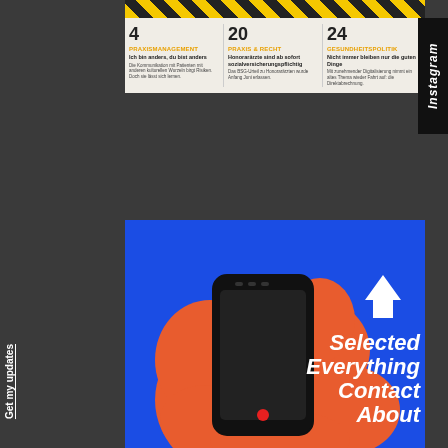[Figure (infographic): Magazine table of contents snippet showing page numbers 4, 20, 24 with categories Praxismanagement, Praxis & Recht, Gesundheitspolitik and brief article summaries. Yellow hazard-stripe header.]
Instagram
[Figure (illustration): Blue background illustration of an orange hand holding a smartphone. White arrow pointing up in top-right corner. Menu items Selected, Everything, Contact, About overlaid in white bold italic text on the right side.]
Get my updates
Selected
Everything
Contact
About